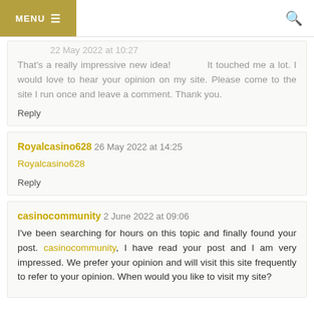MENU
That's a really impressive new idea! It touched me a lot. I would love to hear your opinion on my site. Please come to the site I run once and leave a comment. Thank you.
Reply
Royalcasino628  26 May 2022 at 14:25
Royalcasino628
Reply
casinocommunity  2 June 2022 at 09:06
I've been searching for hours on this topic and finally found your post. casinocommunity, I have read your post and I am very impressed. We prefer your opinion and will visit this site frequently to refer to your opinion. When would you like to visit my site?